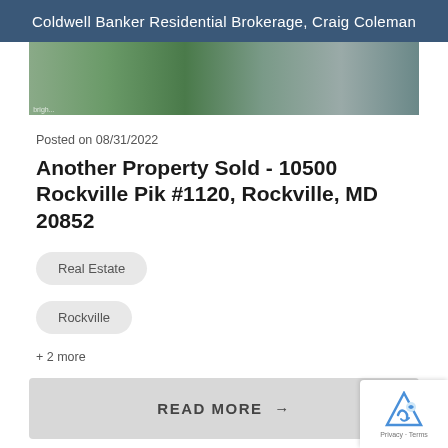Coldwell Banker Residential Brokerage, Craig Coleman
[Figure (photo): Exterior photo of a commercial/residential building with a parking lot full of cars and trees in the background.]
Posted on 08/31/2022
Another Property Sold - 10500 Rockville Pik #1120, Rockville, MD 20852
Real Estate
Rockville
+ 2 more
READ MORE →